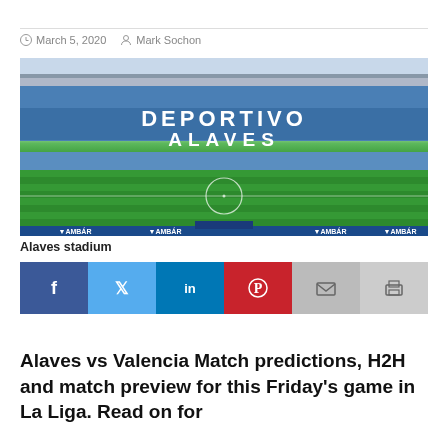March 5, 2020  Mark Sochon
[Figure (photo): Interior view of Deportivo Alaves stadium showing the pitch, blue seats with 'DEPORTIVO ALAVES' lettering and AMBAR sponsor boards]
Alaves stadium
[Figure (infographic): Social media share bar with Facebook, Twitter, LinkedIn, Pinterest, Email, and Print buttons]
Alaves vs Valencia Match predictions, H2H and match preview for this Friday's game in La Liga. Read on for